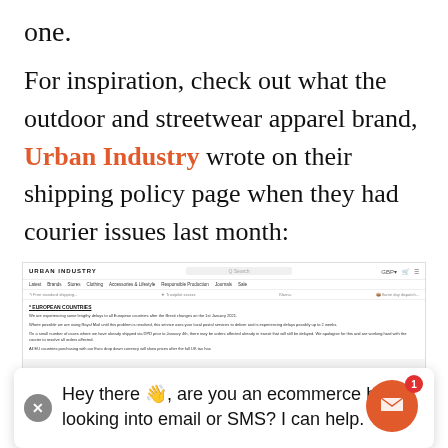one.
For inspiration, check out what the outdoor and streetwear apparel brand, Urban Industry wrote on their shipping policy page when they had courier issues last month:
[Figure (screenshot): Screenshot of the Urban Industry website showing their shipping policy page with a notice about European Countries experiencing longer delays after Brexit changes on 1st January 2021, with navigation bar showing Latest, Brands, Stores, Clothing, Accessories & Lifestyle, Responsible Production, Journals, Sale]
Hey there 👋, are you an ecommerce brand looking into email or SMS? I can help.